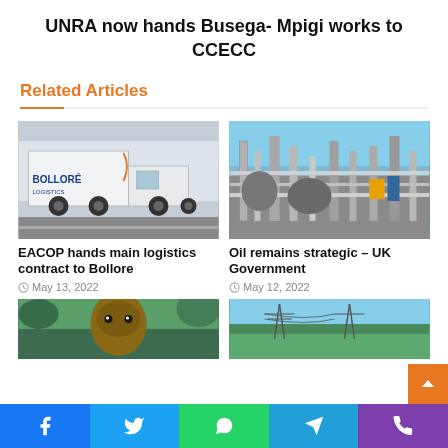UNRA now hands Busega- Mpigi works to CCECC
Related Articles
[Figure (photo): A white Bolloré Logistics truck on a road]
EACOP hands main logistics contract to Bollore
May 13, 2022
[Figure (photo): An oil refinery with pipes and industrial equipment]
Oil remains strategic – UK Government
May 12, 2022
[Figure (photo): Portrait of a person]
[Figure (photo): Landscape with water and electricity pylons]